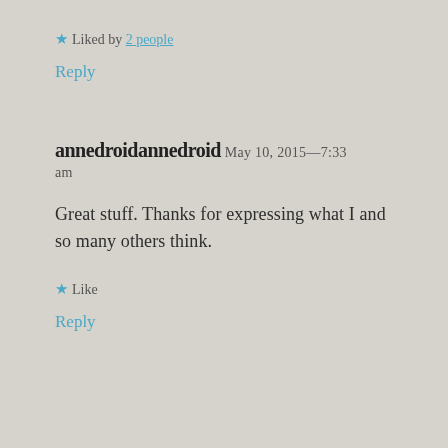★ Liked by 2 people
Reply
annedroidannedroid May 10, 2015—7:33 am
Great stuff. Thanks for expressing what I and so many others think.
★ Like
Reply